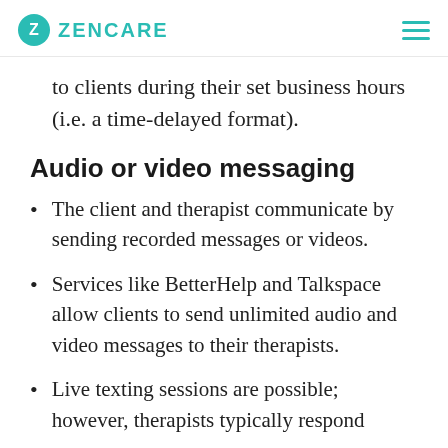ZENCARE
to clients during their set business hours (i.e. a time-delayed format).
Audio or video messaging
The client and therapist communicate by sending recorded messages or videos.
Services like BetterHelp and Talkspace allow clients to send unlimited audio and video messages to their therapists.
Live texting sessions are possible; however, therapists typically respond